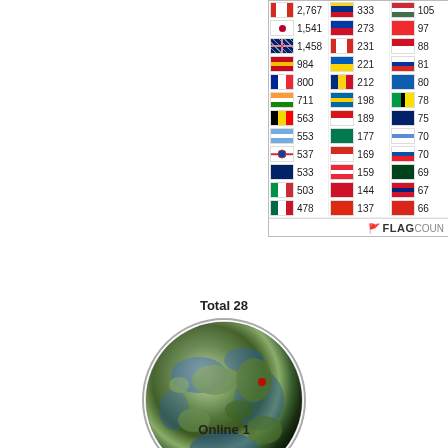[Figure (table-as-image): Flag counter widget showing country flags with visitor counts in three columns. Column 1: 2,767 (Canada), 1,541 (Japan), 1,458 (UK), 984 (Spain), 800 (France), 711 (India), 563 (Belgium), 553 (Argentina), 537 (South Korea), 533 (Australia), 503 (Italy), 478 (Mexico). Column 2: 333 (Colombia), 273 (Philippines), 231 (Switzerland), 221 (Ukraine), 212 (Romania), 198 (Sweden), 189 (Czech Republic), 177 (South Africa), 169 (Chile), 159 (Austria), 144 (Mexico?), 137 (Hong Kong). Column 3: 105 (Hungary), 97 (Norway), 88 (Indonesia), 81 (Russia), 80 (Greece), 78 (Mozambique), 75 (New Zealand), 70 (Uruguay), 70 (Slovakia), 69 (Pakistan), 67 (Venezuela), 66 (Vietnam).]
Total 28
[Figure (illustration): Globe showing Earth from a perspective centered on Asia/Indian Ocean region, rendered as a circular image.]
Online 1